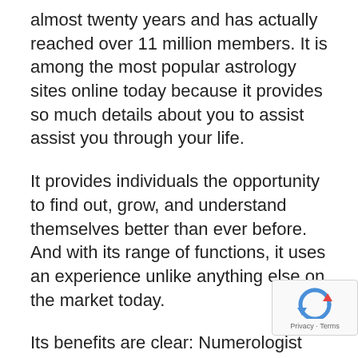almost twenty years and has actually reached over 11 million members. It is among the most popular astrology sites online today because it provides so much details about you to assist assist you through your life.
It provides individuals the opportunity to find out, grow, and understand themselves better than ever before. And with its range of functions, it uses an experience unlike anything else on the market today.
Its benefits are clear: Numerologist does a lot more than simply offer a numerology reading. It likewise offers day-to-day horoscopes, tarot card readings, and personalized birth charts for members to